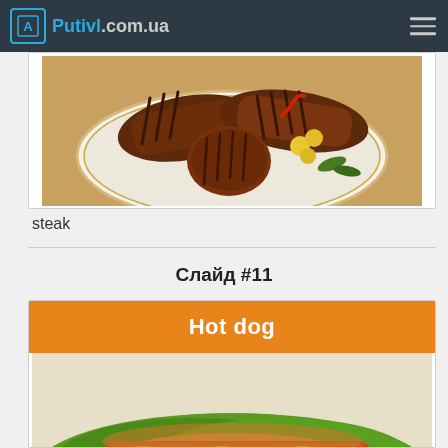Putivl.com.ua
[Figure (photo): Plate of grilled steaks with cherry tomatoes and garnish on a white plate with gold rim]
steak
Слайд #11
[Figure (photo): Hot dog with mustard, lettuce, and sausage on a bun — partially visible at bottom of page]